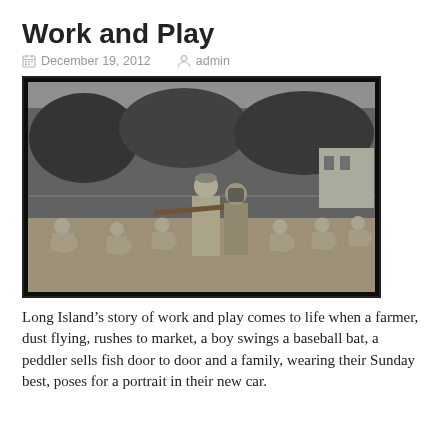Work and Play
December 19, 2012   admin
[Figure (photo): Black and white vintage photograph of a youth baseball team. A batter and catcher stand in the center, with several boys in baseball uniforms sitting on the ground around them on a dirt field. Trees and a building are visible in the background.]
Long Island’s story of work and play comes to life when a farmer, dust flying, rushes to market, a boy swings a baseball bat, a peddler sells fish door to door and a family, wearing their Sunday best, poses for a portrait in their new car.